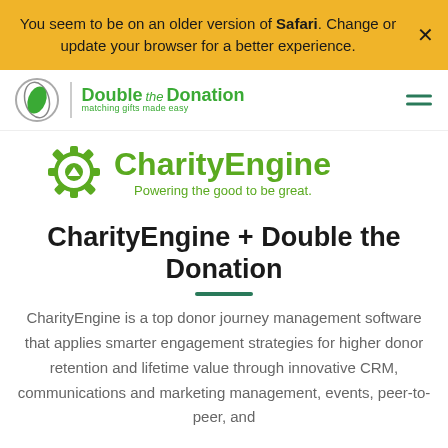You seem to be on an older version of Safari. Change or update your browser for a better experience.
[Figure (logo): Double the Donation logo with circular leaf icon and text 'Double the Donation – matching gifts made easy']
[Figure (logo): CharityEngine logo with gear icon and text 'CharityEngine – Powering the good to be great.']
CharityEngine + Double the Donation
CharityEngine is a top donor journey management software that applies smarter engagement strategies for higher donor retention and lifetime value through innovative CRM, communications and marketing management, events, peer-to-peer, and